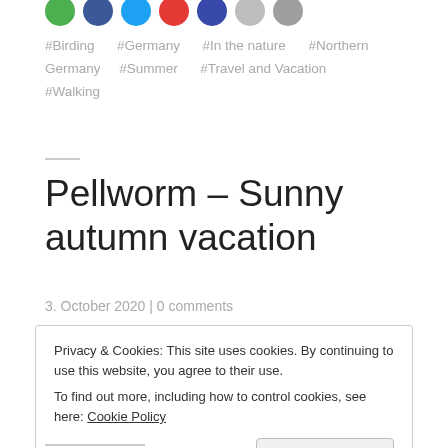[Figure (other): Row of social sharing icon circles (green, blue, light-blue, red, navy, light-gray, gray) partially visible at top]
#Birding    #Germany    #In the nature    #Northern Germany    #Summer    #Travel and Vacation    #Walking
Pellworm – Sunny autumn vacation
3. October 2020 | 0 comments
Privacy & Cookies: This site uses cookies. By continuing to use this website, you agree to their use.
To find out more, including how to control cookies, see here: Cookie Policy
Close and accept